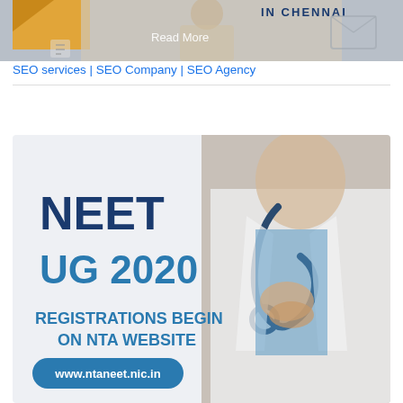[Figure (photo): Top banner image showing a person working at a desk with text 'IN CHENNAI' visible, and an envelope graphic on the right side. Has a 'Read More' text overlay in the center.]
SEO services | SEO Company | SEO Agency
[Figure (infographic): NEET UG 2020 infographic showing a doctor in white coat holding a stethoscope on the right side. Left side has bold blue text: 'NEET UG 2020', 'REGISTRATIONS BEGIN ON NTA WEBSITE', and a blue rounded rectangle button with 'www.ntaneet.nic.in']